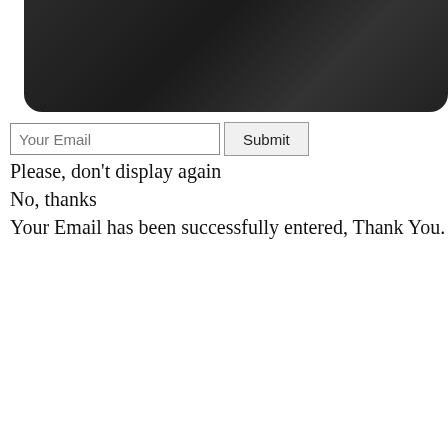[Figure (screenshot): Dark gradient background image area, rounded bottom corners, spanning the top portion of the page]
Your Email  Submit
Please, don't display again
No, thanks
Your Email has been successfully entered, Thank You.